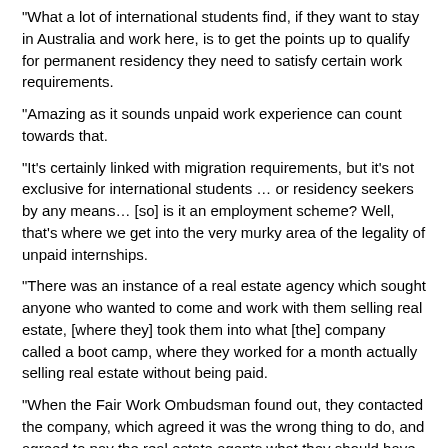“What a lot of international students find, if they want to stay in Australia and work here, is to get the points up to qualify for permanent residency they need to satisfy certain work requirements.
“Amazing as it sounds unpaid work experience can count towards that.
“It’s certainly linked with migration requirements, but it’s not exclusive for international students … or residency seekers by any means… [so] is it an employment scheme? Well, that’s where we get into the very murky area of the legality of unpaid internships.
“There was an instance of a real estate agency which sought anyone who wanted to come and work with them selling real estate, [where they] took them into what [the] company called a boot camp, where they worked for a month actually selling real estate without being paid.
“When the Fair Work Ombudsman found out, they contacted the company, which agreed it was the wrong thing to do, and agreed to pay the real estate agents what they should have received under the relevant award.”
Australian unions have called for a code of practice specifically covering internships.
They say young people must be protected from exploitation in the form of unpaid work.